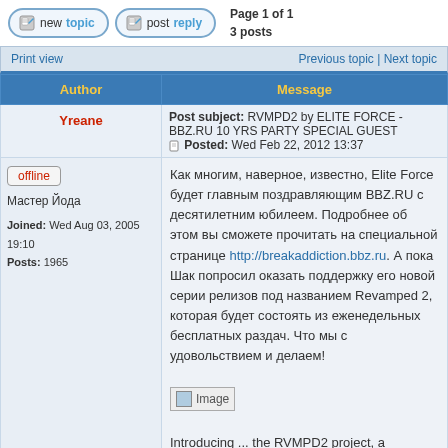Page 1 of 1
3 posts
| Author | Message |
| --- | --- |
| Yreane | Post subject: RVMPD2 by ELITE FORCE - BBZ.RU 10 YRS PARTY SPECIAL GUEST
Posted: Wed Feb 22, 2012 13:37 |
| offline
Мастер Йода
Joined: Wed Aug 03, 2005 19:10
Posts: 1965 | Как многим, наверное, известно, Elite Force будет главным поздравляющим BBZ.RU с десятилетним юбилеем. Подробнее об этом вы сможете прочитать на специальной странице http://breakaddiction.bbz.ru. А пока Шак попросил оказать поддержку его новой серии релизов под названием Revamped 2, которая будет состоять из еженедельных бесплатных раздач. Что мы с удовольствием и делаем!

[Image]

Introducing ... the RVMPD2 project, a peaktime excursion through Elite Force's unique record bag taking in artists as |